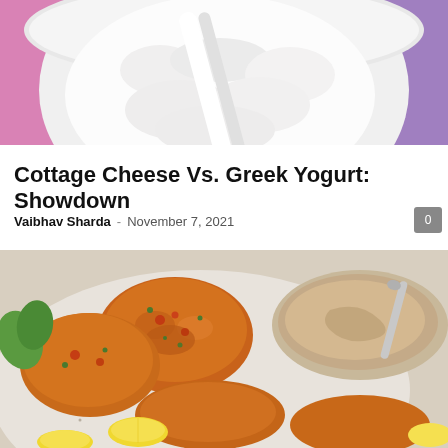[Figure (photo): Top-down view of a white bowl with cottage cheese or Greek yogurt on a pink and purple background]
Cottage Cheese Vs. Greek Yogurt: Showdown
Vaibhav Sharda  -  November 7, 2021
[Figure (photo): Savory fritters/patties on a speckled plate with a bowl of creamy dip and lemon wedges]